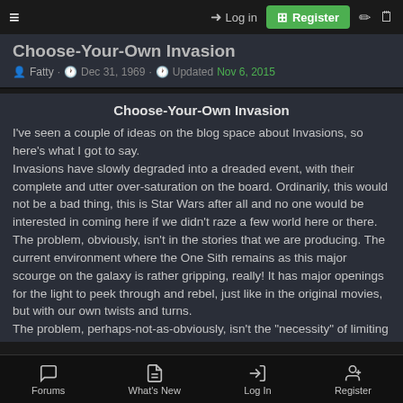≡  Log in  Register
Choose-Your-Own Invasion
Fatty · Dec 31, 1969 · Updated Nov 6, 2015
Choose-Your-Own Invasion
I've seen a couple of ideas on the blog space about Invasions, so here's what I got to say.
Invasions have slowly degraded into a dreaded event, with their complete and utter over-saturation on the board. Ordinarily, this would not be a bad thing, this is Star Wars after all and no one would be interested in coming here if we didn't raze a few world here or there.
The problem, obviously, isn't in the stories that we are producing. The current environment where the One Sith remains as this major scourge on the galaxy is rather gripping, really! It has major openings for the light to peek through and rebel, just like in the original movies, but with our own twists and turns.
The problem, perhaps-not-as-obviously, isn't the "necessity" of limiting
Forums  What's New  Log In  Register